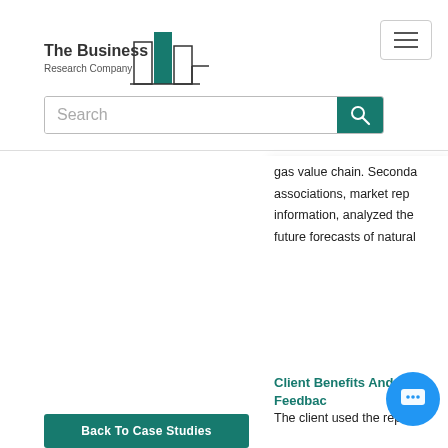The Business Research Company [logo]
Search
gas value chain. Seconda associations, market rep information, analyzed the future forecasts of natural
Client Benefits And Feedbac
The client used the report
Back To Case Studies